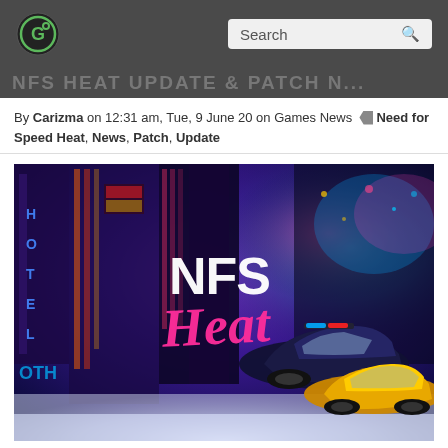Search
By Carizma on 12:31 am, Tue, 9 June 20 on Games News  Need for Speed Heat, News, Patch, Update
[Figure (photo): NFS Heat game promotional image showing two racing cars (a dark sports car and a yellow car) in a neon-lit city at night with the NFS Heat logo in pink script text]